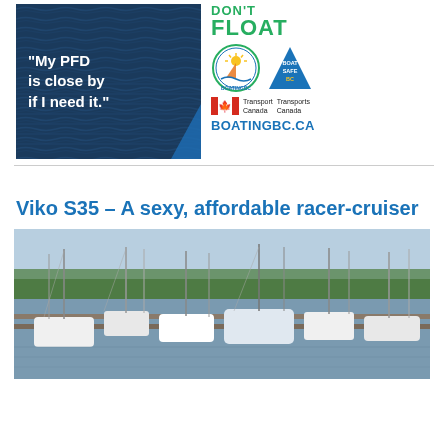[Figure (photo): Boating BC / Boat Safe BC advertisement. Left side: dark blue background with water texture and white bold text "My PFD is close by if I need it." Right side: DON'T FLOAT text in green, Boating BC and Boat Safe BC logos, Transport Canada / Transports Canada with Canadian flag logo, and BOATINGBC.CA website URL.]
Viko S35 – A sexy, affordable racer-cruiser
[Figure (photo): Aerial or dock-level photograph of a busy marina with many sailboats and motorboats moored at docks, with trees visible in the background.]